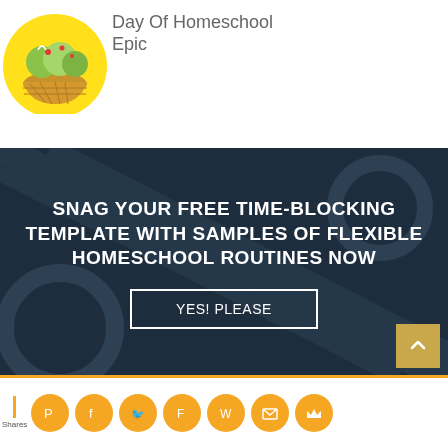[Figure (photo): Ice cream scoops in a waffle bowl on a yellow background]
Day Of Homeschool Epic
[Figure (infographic): Dark blue banner with gears background reading: SNAG YOUR FREE TIME-BLOCKING TEMPLATE WITH SAMPLES OF FLEXIBLE HOMESCHOOL ROUTINES NOW with a YES! PLEASE button]
[Figure (infographic): Social share bar with Pinterest, Facebook, Twitter, Flipboard, WhatsApp, Email, and Crown icons in gold circles. Shares label on left.]